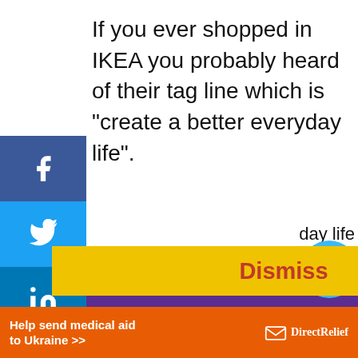If you ever shopped in IKEA you probably heard of their tag line which is “create a better everyday life”.
I honestly think that they don’t use it enough – I just read through their IKEA family and tag
[Figure (screenshot): Social media sharing sidebar with Facebook, Twitter, LinkedIn, Pinterest, and more (+) buttons on the left side of the page]
This website uses cookies to ensure you get the best experience on our website
Learn more
Dismiss
day life
[Figure (screenshot): Share icon circle button in light blue]
Help send medical aid to Ukraine >>
[Figure (logo): Direct Relief logo with envelope icon and text]